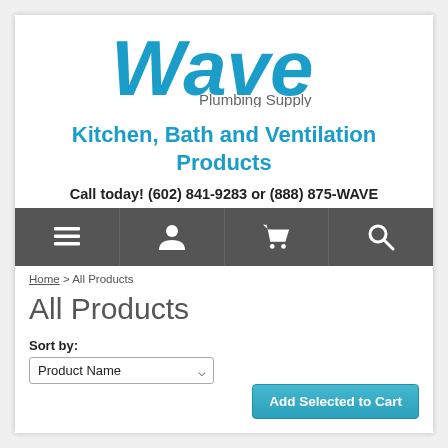[Figure (logo): Wave Plumbing Supply logo — large blue bold italic 'Wave' text with 'Plumbing Supply' below in gray]
Kitchen, Bath and Ventilation Products
Call today! (602) 841-9283 or (888) 875-WAVE
[Figure (screenshot): Dark gray navigation bar with four icons: menu/list, user, shopping cart, search]
Home > All Products
All Products
Sort by:
Product Name (dropdown)
Add Selected to Cart